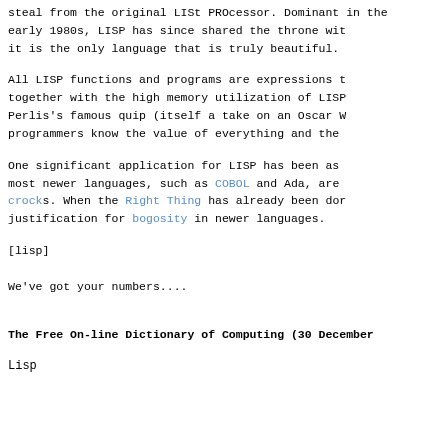steal from the original LISt PROcessor. Dominant in the early 1980s, LISP has since shared the throne with other AI languages; it is the only language that is truly beautiful.
All LISP functions and programs are expressions themselves; this, together with the high memory utilization of LISP programs, inspired Perlis's famous quip (itself a take on an Oscar Wilde epigram) that LISP programmers know the value of everything and the cost of nothing.
One significant application for LISP has been as a systems language for most newer languages, such as COBOL and Ada, are, in fact, considered crocks. When the Right Thing has already been done in LISP, there is no justification for bogosity in newer languages.
[lisp]
We've got your numbers....
The Free On-line Dictionary of Computing (30 December
Lisp